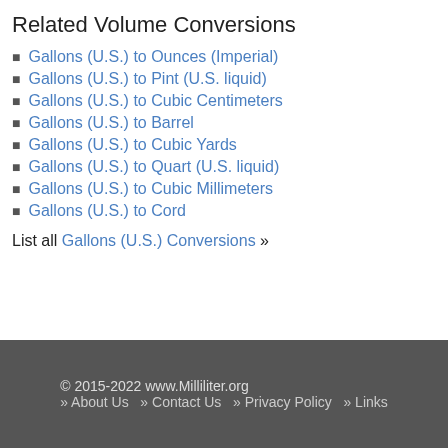Related Volume Conversions
Gallons (U.S.) to Ounces (Imperial)
Gallons (U.S.) to Pint (U.S. liquid)
Gallons (U.S.) to Cubic Centimeters
Gallons (U.S.) to Barrel
Gallons (U.S.) to Cubic Yards
Gallons (U.S.) to Quart (U.S. liquid)
Gallons (U.S.) to Cubic Millimeters
Gallons (U.S.) to Cord
List all Gallons (U.S.) Conversions »
© 2015-2022 www.Milliliter.org  » About Us  » Contact Us  » Privacy Policy  » Links